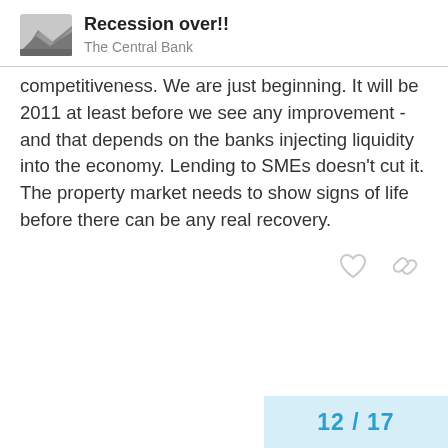Recession over!!
The Central Bank
competitiveness. We are just beginning. It will be 2011 at least before we see any improvement - and that depends on the banks injecting liquidity into the economy. Lending to SMEs doesn't cut it. The property market needs to show signs of life before there can be any real recovery.
[Figure (other): Like (heart) and link icons]
12 / 17